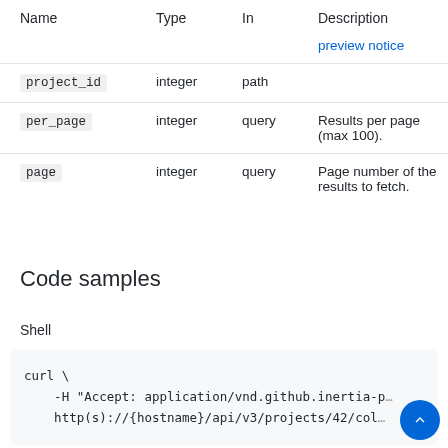| Name | Type | In | Description |
| --- | --- | --- | --- |
|  |  |  | preview notice |
| project_id | integer | path |  |
| per_page | integer | query | Results per page (max 100). |
| page | integer | query | Page number of the results to fetch. |
Code samples
Shell
curl \
    -H "Accept: application/vnd.github.inertia-pr…
    http(s)://{hostname}/api/v3/projects/42/col…